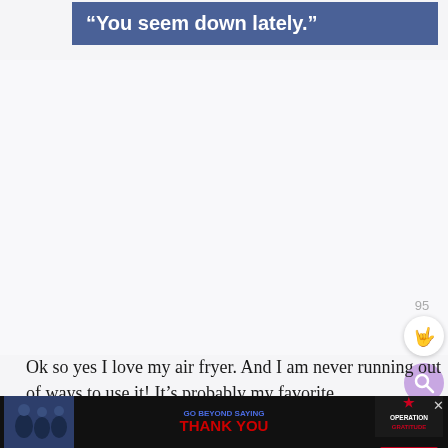“You seem down lately.”
Ok so yes I love my air fryer. And I am never running out of ways to use it! It’s probably my favorite k... N...
[Figure (screenshot): Number 95 above a circular heart/like button (white background) and a circular search button (purple background) on right sidebar]
[Figure (screenshot): Advertisement banner: GO BEYOND SAYING THANK YOU — Operation Gratitude — JOIN US, with photo of people in the background, dismiss X button]